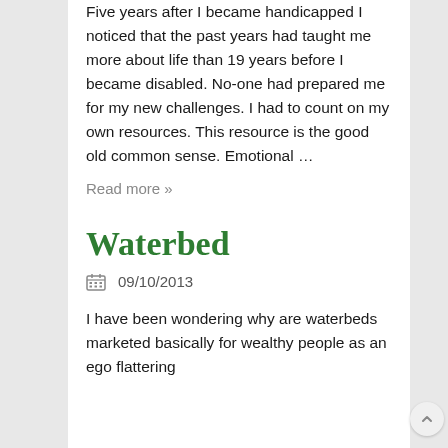Five years after I became handicapped I noticed that the past years had taught me more about life than 19 years before I became disabled. No-one had prepared me for my new challenges. I had to count on my own resources. This resource is the good old common sense. Emotional …
Read more »
Waterbed
09/10/2013
I have been wondering why are waterbeds marketed basically for wealthy people as an ego flattering